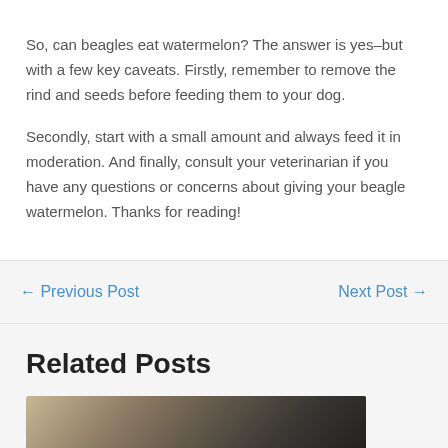So, can beagles eat watermelon? The answer is yes–but with a few key caveats. Firstly, remember to remove the rind and seeds before feeding them to your dog.
Secondly, start with a small amount and always feed it in moderation. And finally, consult your veterinarian if you have any questions or concerns about giving your beagle watermelon. Thanks for reading!
← Previous Post
Next Post →
Related Posts
[Figure (photo): Partial photo showing a person outdoors, partially visible at bottom of page]